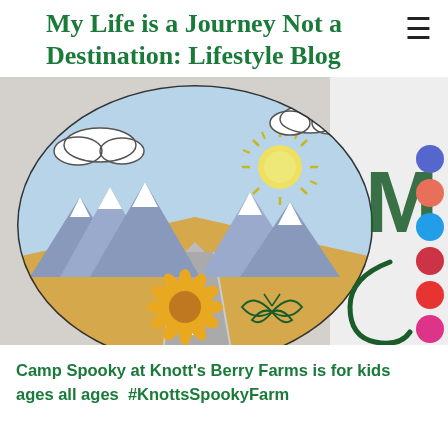My Life is a Journey Not a Destination: Lifestyle Blog
[Figure (illustration): A circular hand-drawn illustration showing a road leading into the distance with mountains, sun with rays, clouds, and golden desert flatlands. To the right, partial view of a blog logo with colorful dots, letter M, and decorative elements including a sunflower and butterfly.]
Camp Spooky at Knott's Berry Farms is for kids ages all ages  #KnottsSpookyFarm